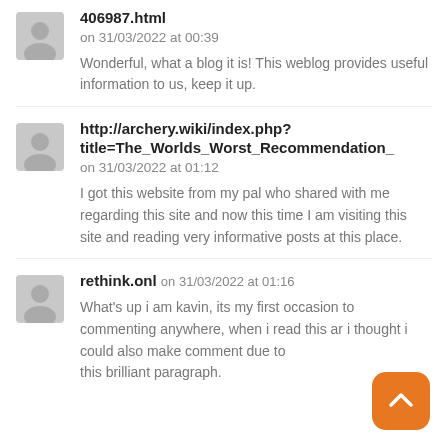406987.html
on 31/03/2022 at 00:39
Wonderful, what a blog it is! This weblog provides useful information to us, keep it up.
http://archery.wiki/index.php?title=The_Worlds_Worst_Recommendation_
on 31/03/2022 at 01:12
I got this website from my pal who shared with me regarding this site and now this time I am visiting this site and reading very informative posts at this place.
rethink.onl on 31/03/2022 at 01:16
What's up i am kavin, its my first occasion to commenting anywhere, when i read this ar i thought i could also make comment due to this brilliant paragraph.
[Figure (other): Orange scroll-to-top button with upward arrow icon]